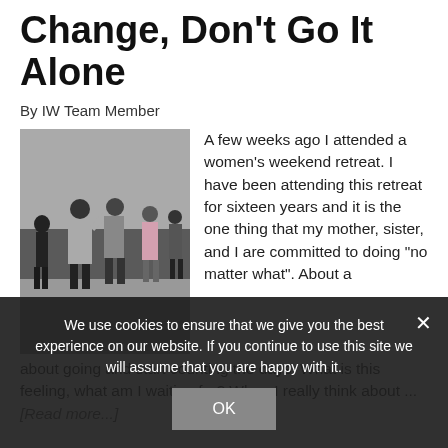Change, Don't Go It Alone
By IW Team Member
[Figure (photo): Group of people outdoors, appearing to dance or socialize in a plaza or courtyard setting.]
A few weeks ago I attended a women's weekend retreat. I have been attending this retreat for sixteen years and it is the one thing that my mother, sister, and I are committed to doing "no matter what". About a
... about going and start counting the days. What is this feeling, what am I waiting for? When I really think about ... [Read more...]
We use cookies to ensure that we give you the best experience on our website. If you continue to use this site we will assume that you are happy with it.